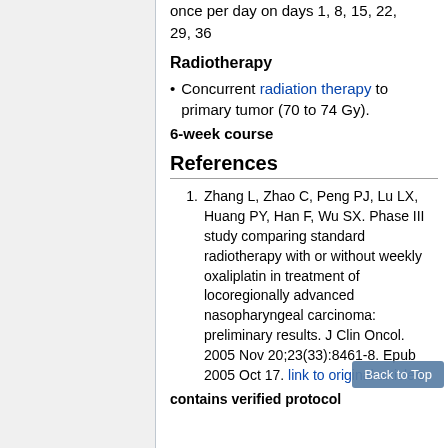once per day on days 1, 8, 15, 22, 29, 36
Radiotherapy
Concurrent radiation therapy to primary tumor (70 to 74 Gy).
6-week course
References
Zhang L, Zhao C, Peng PJ, Lu LX, Huang PY, Han F, Wu SX. Phase III study comparing standard radiotherapy with or without weekly oxaliplatin in treatment of locoregionally advanced nasopharyngeal carcinoma: preliminary results. J Clin Oncol. 2005 Nov 20;23(33):8461-8. Epub 2005 Oct 17. link to original article
contains verified protocol